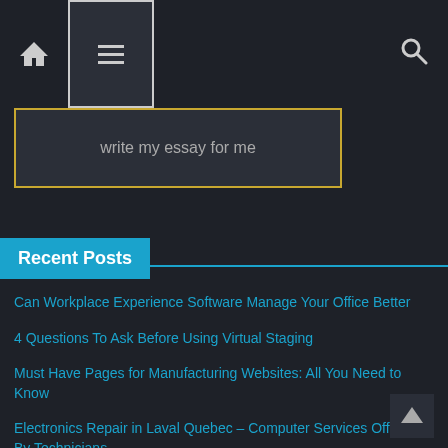Navigation bar with home icon, hamburger menu button, and search icon
write my essay for me
Recent Posts
Can Workplace Experience Software Manage Your Office Better
4 Questions To Ask Before Using Virtual Staging
Must Have Pages for Manufacturing Websites: All You Need to Know
Electronics Repair in Laval Quebec – Computer Services Offered By Technicians